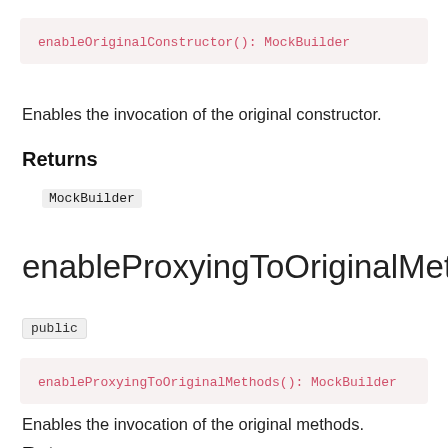enableOriginalConstructor(): MockBuilder
Enables the invocation of the original constructor.
Returns
MockBuilder
enableProxyingToOriginalMethod
public
enableProxyingToOriginalMethods(): MockBuilder
Enables the invocation of the original methods.
Returns